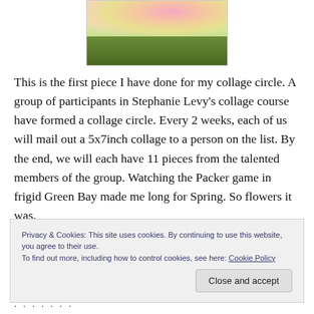[Figure (photo): A collage artwork showing pink and orange flowers in the upper portion and green foliage in the lower portion, on a white background.]
This is the first piece I have done for my collage circle. A group of participants in Stephanie Levy's collage course have formed a collage circle. Every 2 weeks, each of us will mail out a 5x7inch collage to a person on the list. By the end, we will each have 11 pieces from the talented members of the group. Watching the Packer game in frigid Green Bay made me long for Spring. So flowers it was.
Privacy & Cookies: This site uses cookies. By continuing to use this website, you agree to their use.
To find out more, including how to control cookies, see here: Cookie Policy
Close and accept